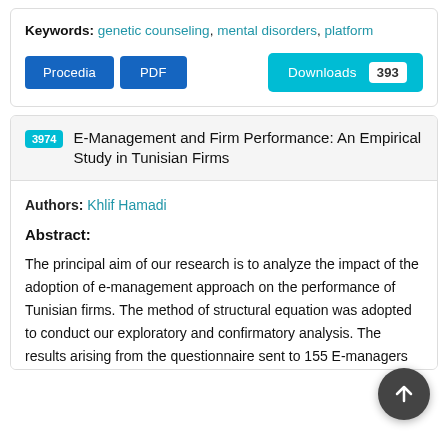Keywords: genetic counseling, mental disorders, platform
Procedia | PDF | Downloads 393
3974 E-Management and Firm Performance: An Empirical Study in Tunisian Firms
Authors: Khlif Hamadi
Abstract:
The principal aim of our research is to analyze the impact of the adoption of e-management approach on the performance of Tunisian firms. The method of structural equation was adopted to conduct our exploratory and confirmatory analysis. The results arising from the questionnaire sent to 155 E-managers